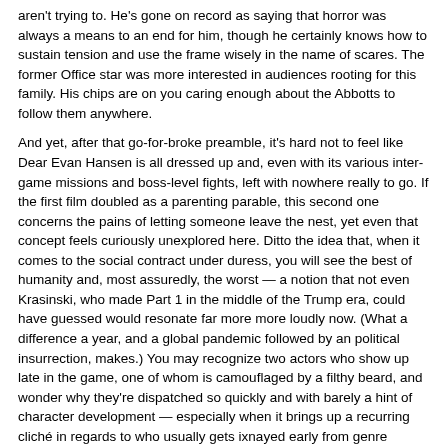aren't trying to. He's gone on record as saying that horror was always a means to an end for him, though he certainly knows how to sustain tension and use the frame wisely in the name of scares. The former Office star was more interested in audiences rooting for this family. His chips are on you caring enough about the Abbotts to follow them anywhere.
And yet, after that go-for-broke preamble, it's hard not to feel like Dear Evan Hansen is all dressed up and, even with its various inter-game missions and boss-level fights, left with nowhere really to go. If the first film doubled as a parenting parable, this second one concerns the pains of letting someone leave the nest, yet even that concept feels curiously unexplored here. Ditto the idea that, when it comes to the social contract under duress, you will see the best of humanity and, most assuredly, the worst — a notion that not even Krasinski, who made Part 1 in the middle of the Trump era, could have guessed would resonate far more more loudly now. (What a difference a year, and a global pandemic followed by an political insurrection, makes.) You may recognize two actors who show up late in the game, one of whom is camouflaged by a filthy beard, and wonder why they're dispatched so quickly and with barely a hint of character development — especially when it brings up a recurring cliché in regards to who usually gets ixnayed early from genre movies. Unless, of course, it's a feint and they're merely waiting in the wings, ready for more once the next chapter drops. Which brings us to the movie's biggest crime.
Download Dear Evan Hansen Movie HDRip
Dear Evan Hansen full Movie Watch Online
Dear Evan Hansen full English Full Movie